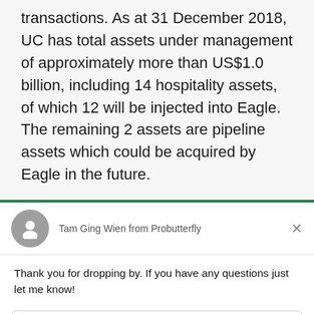transactions. As at 31 December 2018, UC has total assets under management of approximately more than US$1.0 billion, including 14 hospitality assets, of which 12 will be injected into Eagle. The remaining 2 assets are pipeline assets which could be acquired by Eagle in the future.
Tam Ging Wien from Probutterfly
Thank you for dropping by. If you have any questions just let me know!
Reply to Tam Ging Wien
Chat ⚡ by Drift